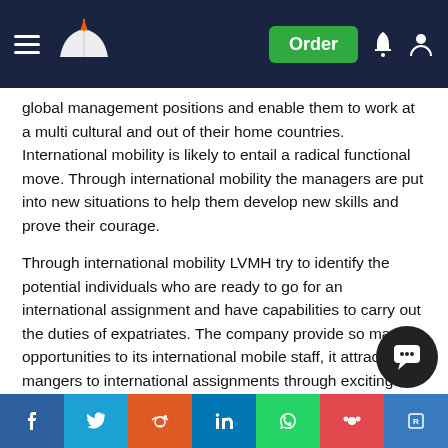Navigation bar with logo, hamburger menu, Order button, bell and user icons
global management positions and enable them to work at a multi cultural and out of their home countries. International mobility is likely to entail a radical functional move. Through international mobility the managers are put into new situations to help them develop new skills and prove their courage.
Through international mobility LVMH try to identify the potential individuals who are ready to go for an international assignment and have capabilities to carry out the duties of expatriates. The company provide so many opportunities to its international mobile staff, it attract mangers to international assignments through exciting career development prospects and not through economic incentives, even though its incentive program is competitive in the market, they don't dispatch expatriates because of a lack of local talent